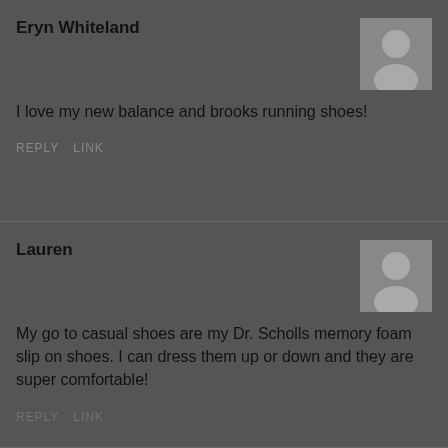Eryn Whiteland
I love my new balance and brooks running shoes!
REPLY   LINK
Lauren
My go to casual shoes are my Dr. Scholls memory foam slip on shoes. I can dress them up or down and they are super comfortable!
REPLY   LINK